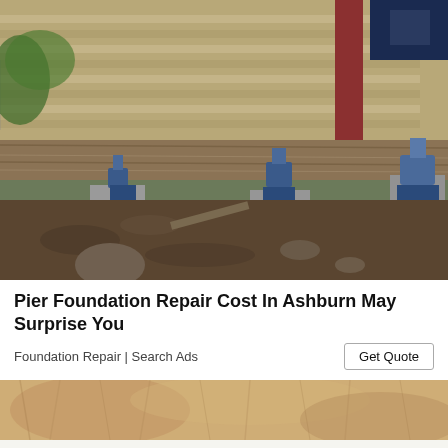[Figure (photo): Construction photo showing house foundation repair with multiple blue hydraulic bottle jacks positioned on concrete piers beneath a wooden beam/sill plate. Dirt crawl space visible below, with wood framing above. House siding visible in background along with green trees.]
Pier Foundation Repair Cost In Ashburn May Surprise You
Foundation Repair | Search Ads
[Figure (photo): Partial photo at bottom of page showing what appears to be fur or hair, cropped and cut off at the page edge.]